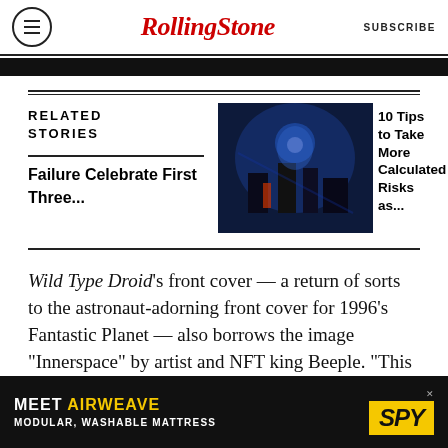RollingStone  SUBSCRIBE
[Figure (photo): Dark image strip at top of article]
RELATED STORIES
Failure Celebrate First Three...
[Figure (photo): Concert photo - musician on stage with blue lighting]
10 Tips to Take More Calculated Risks as...
Wild Type Droid's front cover — a return of sorts to the astronaut-adorning front cover for 1996's Fantastic Planet — also borrows the image "Innerspace" by artist and NFT king Beeple. "This feels like a good place and time to abandon the
[Figure (other): Advertisement: MEET AIRWEAVE - MODULAR, WASHABLE MATTRESS with SPY logo]